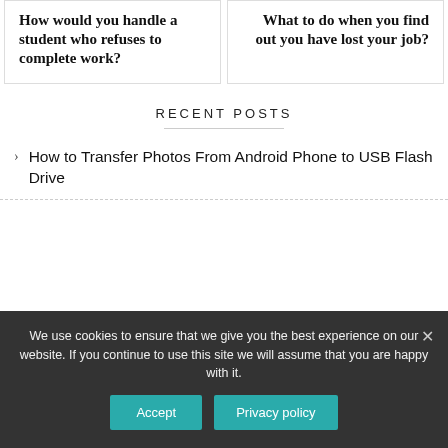How would you handle a student who refuses to complete work?
What to do when you find out you have lost your job?
RECENT POSTS
How to Transfer Photos From Android Phone to USB Flash Drive
We use cookies to ensure that we give you the best experience on our website. If you continue to use this site we will assume that you are happy with it.